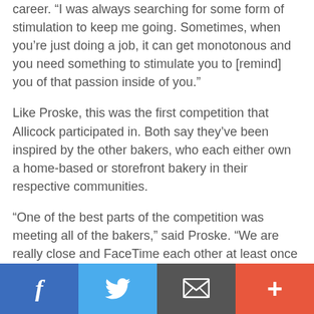career. “I was always searching for some form of stimulation to keep me going. Sometimes, when you’re just doing a job, it can get monotonous and you need something to stimulate you to [remind] you of that passion inside of you.”
Like Proske, this was the first competition that Allicock participated in. Both say they’ve been inspired by the other bakers, who each either own a home-based or storefront bakery in their respective communities.
“One of the best parts of the competition was meeting all of the bakers,” said Proske. “We are really close and FaceTime each other at least once a week to share recipes and experiences. It’s helpful to have a group of talented people as friends.”
“They’re all down-to-earth people trying to be their own